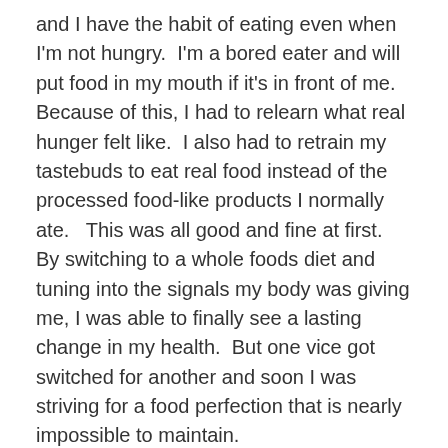and I have the habit of eating even when I'm not hungry.  I'm a bored eater and will put food in my mouth if it's in front of me.  Because of this, I had to relearn what real hunger felt like.  I also had to retrain my tastebuds to eat real food instead of the processed food-like products I normally ate.   This was all good and fine at first.  By switching to a whole foods diet and tuning into the signals my body was giving me, I was able to finally see a lasting change in my health.  But one vice got switched for another and soon I was striving for a food perfection that is nearly impossible to maintain.
I was so worried that if I slipped up with good eating habits, even just a little bit, all my hard work and progress would come crashing down.  So I tried to keep myself in this tiny box where I could only eat the best foods possible.  This inevitably cut me off from normal